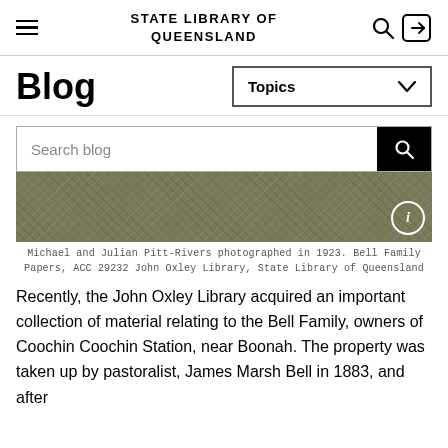STATE LIBRARY OF QUEENSLAND
Blog
[Figure (screenshot): Search blog bar with black search button icon, followed by a dark olive/khaki textured photograph strip with an info icon in the bottom right corner]
Michael and Julian Pitt-Rivers photographed in 1923. Bell Family Papers, ACC 29232 John Oxley Library, State Library of Queensland
Recently, the John Oxley Library acquired an important collection of material relating to the Bell Family, owners of Coochin Coochin Station, near Boonah. The property was taken up by pastoralist, James Marsh Bell in 1883, and after